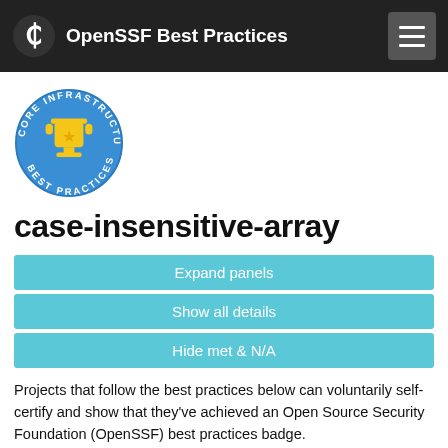OpenSSF Best Practices
[Figure (logo): OpenSSF Best Practices circular badge with gold trophy icon on blue background]
case-insensitive-array
Expand panels
Show all details
Hide met & N/A
Projects that follow the best practices below can voluntarily self-certify and show that they've achieved an Open Source Security Foundation (OpenSSF) best practices badge.
Show details